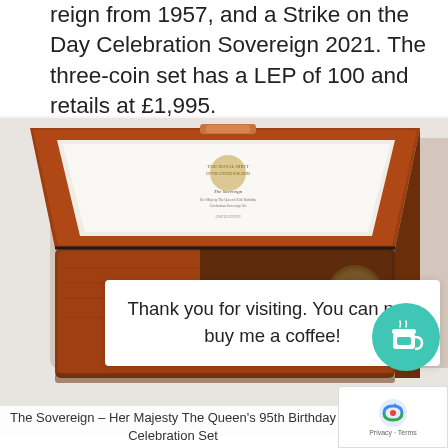reign from 1957, and a Strike on the Day Celebration Sovereign 2021. The three-coin set has a LEP of 100 and retails at £1,995.
[Figure (photo): A wooden presentation box open to reveal a Royal Mint coin set, with a white certificate of authenticity card visible and a coin in the bottom right compartment.]
Thank you for visiting. You can now buy me a coffee!
The Sovereign – Her Majesty The Queen's 95th Birthday Celebration Set